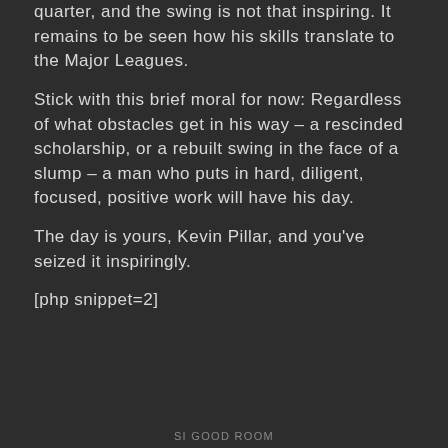quarter, and the swing is not that inspiring. It remains to be seen how his skills translate to the Major Leagues.
Stick with this brief moral for now: Regardless of what obstacles get in his way – a rescinded scholarship, or a rebuilt swing in the face of a slump – a man who puts in hard, diligent, focused, positive work will have his day.
The day is yours, Kevin Pillar, and you've seized it inspiringly.
[php snippet=2]
SI GOOD ROOM